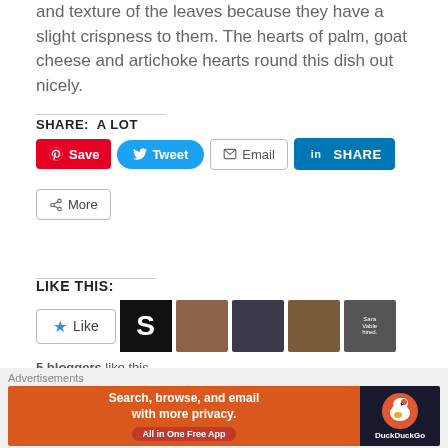and texture of the leaves because they have a slight crispness to them. The hearts of palm, goat cheese and artichoke hearts round this dish out nicely.
SHARE: A LOT
[Figure (screenshot): Social share buttons: Pinterest Save (red), Twitter Tweet (blue), Email (outlined), LinkedIn SHARE (blue), and a More button with share icon]
LIKE THIS:
[Figure (screenshot): Like button and 5 blogger avatar thumbnails]
5 bloggers like this.
[Figure (screenshot): DuckDuckGo advertisement banner: Search, browse, and email with more privacy. All in One Free App.]